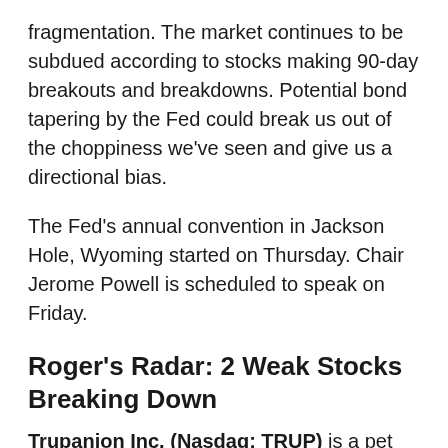fragmentation. The market continues to be subdued according to stocks making 90-day breakouts and breakdowns. Potential bond tapering by the Fed could break us out of the choppiness we've seen and give us a directional bias.
The Fed's annual convention in Jackson Hole, Wyoming started on Thursday. Chair Jerome Powell is scheduled to speak on Friday.
Roger's Radar: 2 Weak Stocks Breaking Down
Trupanion Inc. (Nasdaq: TRUP) is a pet insurance company. People have spent less on their pets because they aren't staying home as much. TRUP has made two lower highs, traded below its 200-day